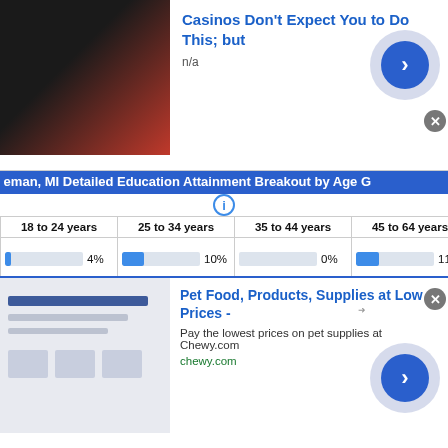[Figure (screenshot): Advertisement banner: Casinos Don't Expect You to Do This; but, n/a, with arrow button]
eman, MI Detailed Education Attainment Breakout by Age G
[Figure (infographic): Info icon (i in circle)]
| 18 to 24 years | 25 to 34 years | 35 to 44 years | 45 to 64 years |
| --- | --- | --- | --- |
| 4% | 10% | 0% | 11% |
| 4% | 4% | 3% | 13% |
| 12% | 5% | 27% | 4% |
[Figure (screenshot): Advertisement banner: Pet Food, Products, Supplies at Low Prices - Pay the lowest prices on pet supplies at Chewy.com, chewy.com, with arrow button]